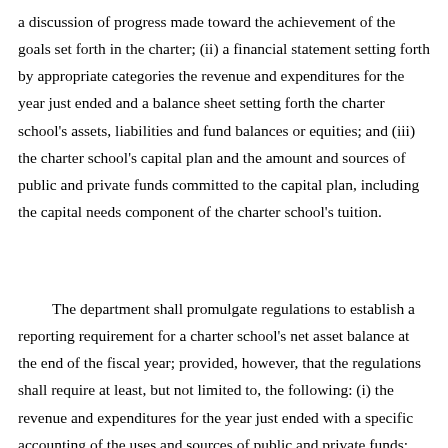a discussion of progress made toward the achievement of the goals set forth in the charter; (ii) a financial statement setting forth by appropriate categories the revenue and expenditures for the year just ended and a balance sheet setting forth the charter school's assets, liabilities and fund balances or equities; and (iii) the charter school's capital plan and the amount and sources of public and private funds committed to the capital plan, including the capital needs component of the charter school's tuition.
The department shall promulgate regulations to establish a reporting requirement for a charter school's net asset balance at the end of the fiscal year; provided, however, that the regulations shall require at least, but not limited to, the following: (i) the revenue and expenditures for the year just ended with a specific accounting of the uses and sources of public and private funds; (ii) a specific